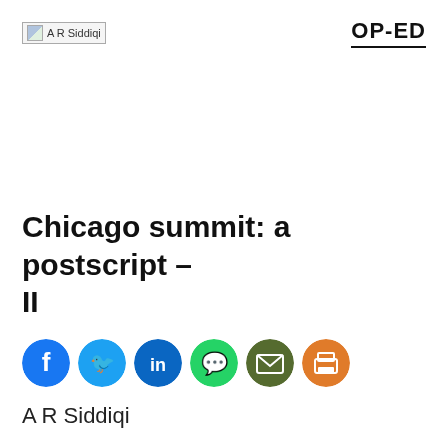A R Siddiqi | OP-ED
Chicago summit: a postscript – II
[Figure (infographic): Row of social sharing icons: Facebook (dark blue), Twitter (light blue), LinkedIn (blue), WhatsApp (green), Email (dark green/olive), Print (orange)]
A R Siddiqi